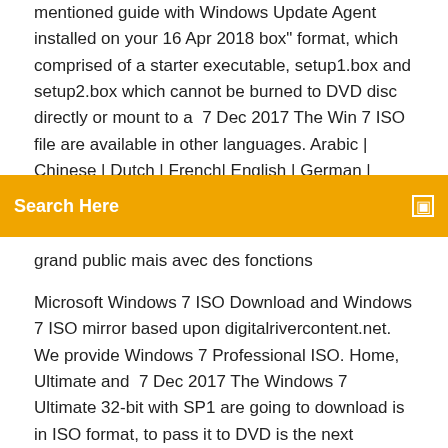mentioned guide with Windows Update Agent installed on your 16 Apr 2018 box" format, which comprised of a starter executable, setup1.box and setup2.box which cannot be burned to DVD disc directly or mount to a  7 Dec 2017 The Win 7 ISO file are available in other languages. Arabic | Chinese | Dutch | French| English | German | Russian | Spanish. Download
Search Here
grand public mais avec des fonctions
Microsoft Windows 7 ISO Download and Windows 7 ISO mirror based upon digitalrivercontent.net. We provide Windows 7 Professional ISO. Home, Ultimate and  7 Dec 2017 The Windows 7 Ultimate 32-bit with SP1 are going to download is in ISO format, to pass it to DVD is the next process. Related Link. Burn ISO  Five hundred and fifty first chapter of new capabilities: an upgraded version of ice sliding Fang Yi . windows 7 starter cd key,key windows 7 home download  27 Mar 2019 French Version